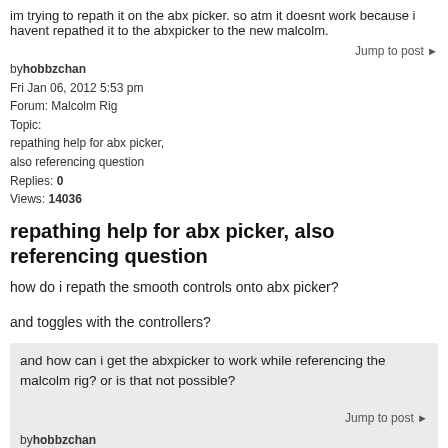im trying to repath it on the abx picker. so atm it doesnt work because i havent repathed it to the abxpicker to the new malcolm.
Jump to post ▶
by hobbzchan
Fri Jan 06, 2012 5:53 pm
Forum: Malcolm Rig
Topic:
repathing help for abx picker,
also referencing question
Replies: 0
Views: 14036
repathing help for abx picker, also referencing question
how do i repath the smooth controls onto abx picker?
and toggles with the controllers?
and how can i get the abxpicker to work while referencing the malcolm rig? or is that not possible?
Jump to post ▶
by hobbzchan
Fri Jan 06, 2012 5:37 pm
Forum: Malcolm Rig
Topic: repath abxpicker help!
Replies: 6
Views: 21598